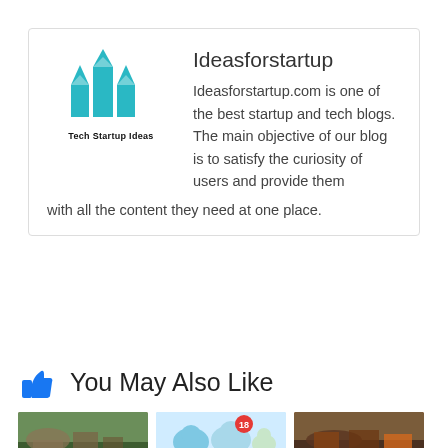[Figure (logo): Tech Startup Ideas logo with teal bar chart icon and text 'Tech Startup Ideas']
Ideasforstartup
Ideasforstartup.com is one of the best startup and tech blogs. The main objective of our blog is to satisfy the curiosity of users and provide them with all the content they need at one place.
You May Also Like
[Figure (photo): Three thumbnail images side by side: nature/people photo on left, cartoon/illustration in center, food/lifestyle photo on right]